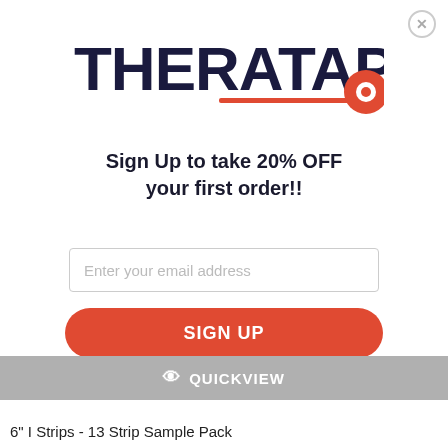[Figure (logo): THERATAPE logo in dark navy bold text with a red underline and red circle accent on the right]
Sign Up to take 20% OFF your first order!!
Enter your email address
SIGN UP
QUICKVIEW
6" I Strips - 13 Strip Sample Pack